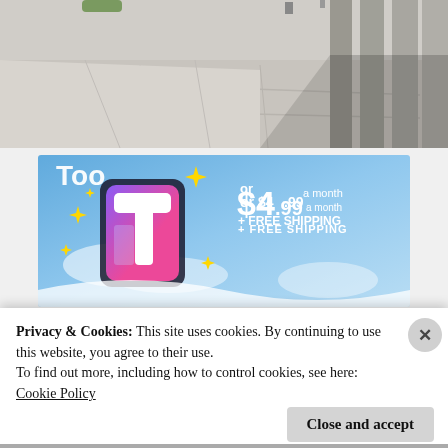[Figure (photo): Outdoor photo showing concrete pavement/sidewalk with large rectangular pillars/columns on the right side, taken from a low angle in bright daylight]
[Figure (infographic): Tumblr advertisement banner with light blue sky background, Tumblr logo (stylized 't' in white with purple and pink gradient outline), yellow sparkle stars, and text showing 'or $4.99 a month + FREE SHIPPING']
Privacy & Cookies: This site uses cookies. By continuing to use this website, you agree to their use.
To find out more, including how to control cookies, see here:
Cookie Policy
Close and accept